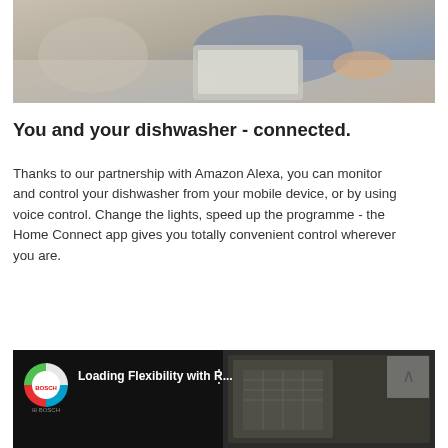[Figure (photo): Person sitting on a couch with a laptop, casual setting with grey/beige tones]
You and your dishwasher - connected.
Thanks to our partnership with Amazon Alexa, you can monitor and control your dishwasher from your mobile device, or by using voice control. Change the lights, speed up the programme - the Home Connect app gives you totally convenient control wherever you are.
[Figure (screenshot): YouTube video thumbnail showing Bosch branded video titled 'Loading Flexibility with R...' with Bosch logo circle and a three-dot menu icon]